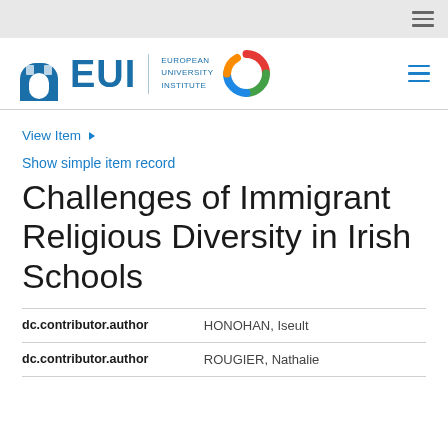European University Institute — EUI — header navigation bar
View Item ▾
Show simple item record
Challenges of Immigrant Religious Diversity in Irish Schools
| Field | Value |
| --- | --- |
| dc.contributor.author | HONOHAN, Iseult |
| dc.contributor.author | ROUGIER, Nathalie |